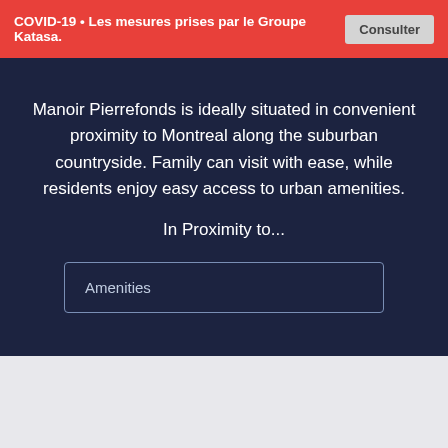COVID-19 • Les mesures prises par le Groupe Katasa. Consulter
Manoir Pierrefonds is ideally situated in convenient proximity to Montreal along the suburban countryside. Family can visit with ease, while residents enjoy easy access to urban amenities.
In Proximity to...
Amenities
[Figure (other): Light grey placeholder section at the bottom of the page]